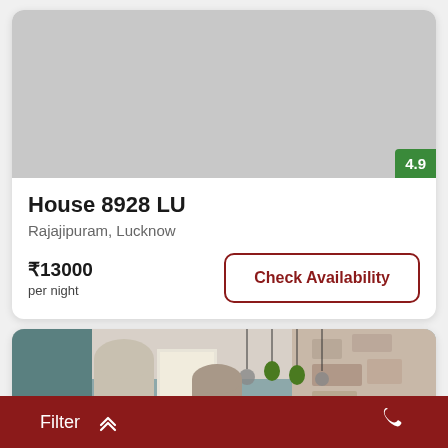[Figure (photo): Gray placeholder image for house listing photo with green rating badge showing 4.9]
House 8928 LU
Rajajipuram, Lucknow
₹13000
per night
Check Availability
[Figure (photo): Interior photo of a house showing pendant lights with green shades, arched doorways, and stone wall textures with a scroll-to-top button]
Filter